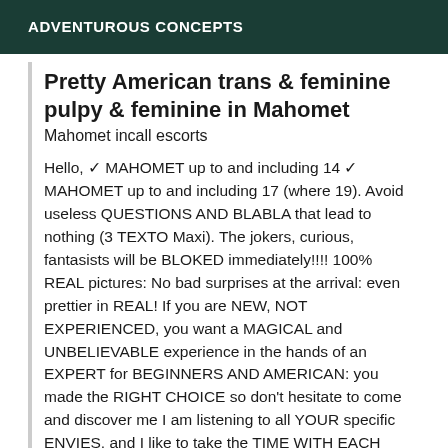ADVENTUROUS CONCEPTS
Pretty American trans & feminine pulpy & feminine in Mahomet
Mahomet incall escorts
Hello, ✓ MAHOMET up to and including 14 ✓ MAHOMET up to and including 17 (where 19). Avoid useless QUESTIONS AND BLABLA that lead to nothing (3 TEXTO Maxi). The jokers, curious, fantasists will be BLOKED immediately!!!! 100% REAL pictures: No bad surprises at the arrival: even prettier in REAL! If you are NEW, NOT EXPERIENCED, you want a MAGICAL and UNBELIEVABLE experience in the hands of an EXPERT for BEGINNERS AND AMERICAN: you made the RIGHT CHOICE so don't hesitate to come and discover me I am listening to all YOUR specific ENVIES, and I like to take the TIME WITH EACH ONE to make you discover THE ECTAZ by giving the BEST of myself. PAMELA , AMERICAN TRANS, tall blonde (1.80m/79kg/